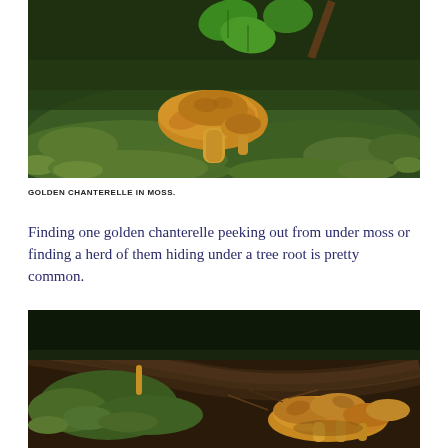[Figure (photo): A golden chanterelle mushroom growing among green moss and ivy leaves on a forest floor, viewed from above at an angle.]
GOLDEN CHANTERELLE IN MOSS.
Finding one golden chanterelle peeking out from under moss or finding a herd of them hiding under a tree root is pretty common.
[Figure (photo): Golden chanterelle mushrooms clustered near a tree root, surrounded by dark soil and green moss on the forest floor.]